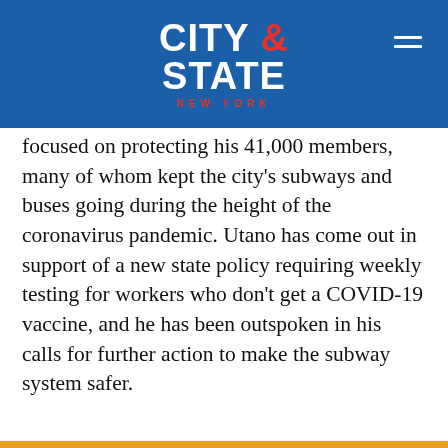CITY & STATE NEW YORK
focused on protecting his 41,000 members, many of whom kept the city's subways and buses going during the height of the coronavirus pandemic. Utano has come out in support of a new state policy requiring weekly testing for workers who don't get a COVID-19 vaccine, and he has been outspoken in his calls for further action to make the subway system safer.
[Figure (other): Social sharing icons: Facebook, Twitter, LinkedIn, Email]
16. Thomas Gesualdi
President, Teamsters Joint Council 16